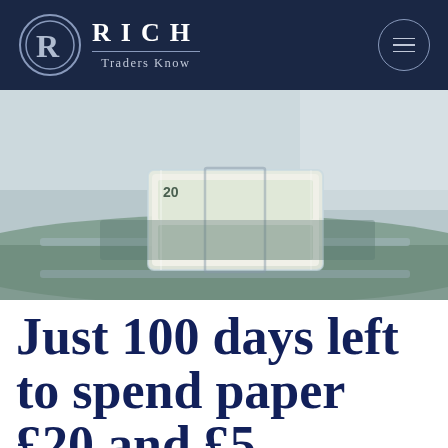RICH Traders Know
[Figure (photo): A bundle of UK £20 banknotes wrapped in plastic sitting on a conveyor belt in what appears to be a bank or currency processing facility.]
Just 100 days left to spend paper £20 and £50...